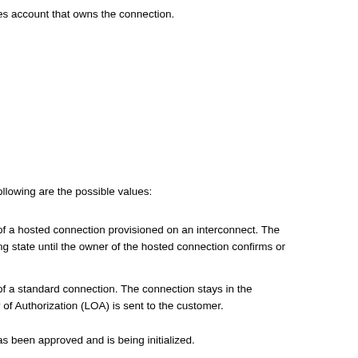es account that owns the connection.
ollowing are the possible values:
of a hosted connection provisioned on an interconnect. The ng state until the owner of the hosted connection confirms or
of a standard connection. The connection stays in the r of Authorization (LOA) is sent to the customer.
as been approved and is being initialized.